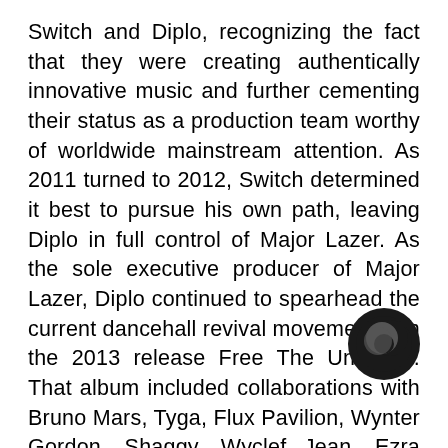Switch and Diplo, recognizing the fact that they were creating authentically innovative music and further cementing their status as a production team worthy of worldwide mainstream attention. As 2011 turned to 2012, Switch determined it best to pursue his own path, leaving Diplo in full control of Major Lazer. As the sole executive producer of Major Lazer, Diplo continued to spearhead the current dancehall revival movement with the 2013 release Free The Universe. That album included collaborations with Bruno Mars, Tyga, Flux Pavilion, Wynter Gordon, Shaggy, Wyclef Jean, Ezra Koening from Vampire Weekend, Dev and more. Spin called the LP's first single "Get Free" featuring Amber Coffman of Dirty Projectors, "a meeting point between Jamaica, West Africa, and Brooklyn." Diplo (AKA Wesley Pentz) has risen through the ranks
[Figure (logo): Circular watermark/logo icon — dark circle with a crescent-like eye symbol]